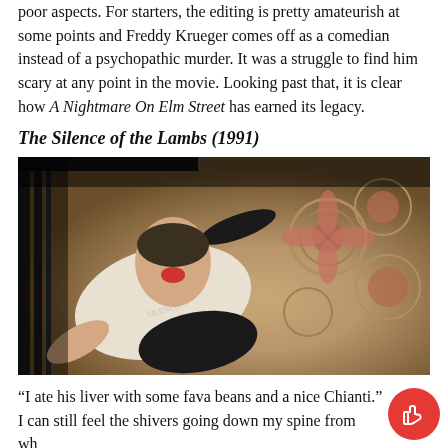poor aspects. For starters, the editing is pretty amateurish at some points and Freddy Krueger comes off as a comedian instead of a psychopathic murder. It was a struggle to find him scary at any point in the movie. Looking past that, it is clear how A Nightmare On Elm Street has earned its legacy.
The Silence of the Lambs (1991)
[Figure (photo): A still from The Silence of the Lambs (1991) showing Hannibal Lecter in a white shirt with blood on his face, lying on a decorative floor, viewed from above.]
“I ate his liver with some fava beans and a nice Chianti.” I can still feel the shivers going down my spine from when I first heard Anthony Hopkins’ character, Hannibal Lecter,